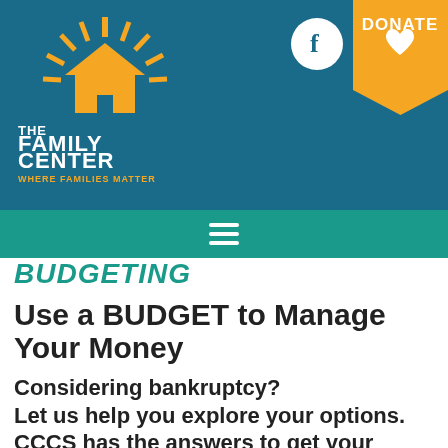[Figure (logo): The Family Center - Where Families Matter logo with house and sunburst graphic, white text on teal/blue background]
[Figure (logo): Facebook circle icon (white circle with f)]
[Figure (logo): Donate badge in orange/gold with heart icon]
Navigation hamburger menu bar (teal)
BUDGETING
Use a BUDGET to Manage Your Money
Considering bankruptcy? Let us help you explore your options. CCCS has the answers to get your